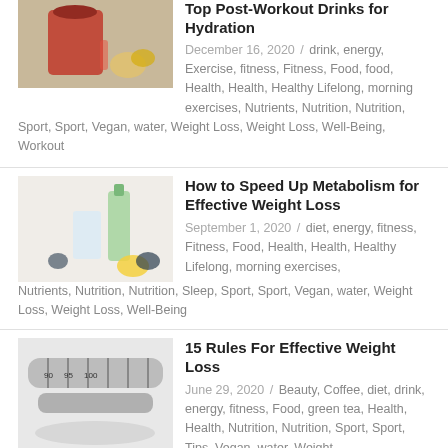Top Post-Workout Drinks for Hydration
December 16, 2020 / drink, energy, Exercise, fitness, Fitness, Food, food, Health, Health, Healthy Lifelong, morning exercises, Nutrients, Nutrition, Nutrition, Sport, Sport, Vegan, water, Weight Loss, Weight Loss, Well-Being, Workout
[Figure (photo): Red smoothie drink in a glass with fruits on a wooden table]
How to Speed Up Metabolism for Effective Weight Loss
September 1, 2020 / diet, energy, fitness, Fitness, Food, Health, Health, Healthy Lifelong, morning exercises, Nutrients, Nutrition, Nutrition, Sleep, Sport, Sport, Vegan, water, Weight Loss, Weight Loss, Well-Being
[Figure (photo): Water bottle with fruits and glasses on white background]
15 Rules For Effective Weight Loss
June 29, 2020 / Beauty, Coffee, diet, drink, energy, fitness, Food, green tea, Health, Health, Nutrition, Nutrition, Sport, Sport, Tips, Vegan, water, Weight Loss, Weight Loss
[Figure (photo): Measuring tape on a plate, black and white]